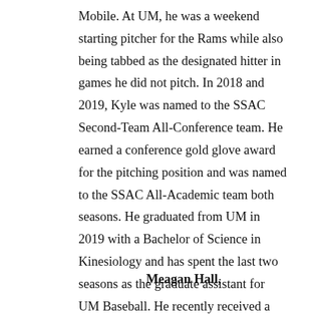Mobile. At UM, he was a weekend starting pitcher for the Rams while also being tabbed as the designated hitter in games he did not pitch. In 2018 and 2019, Kyle was named to the SSAC Second-Team All-Conference team. He earned a conference gold glove award for the pitching position and was named to the SSAC All-Academic team both seasons. He graduated from UM in 2019 with a Bachelor of Science in Kinesiology and has spent the last two seasons as the graduate assistant for UM Baseball. He recently received a master's degree in Physical Education from the University of West Alabama.
Meagan Hall,